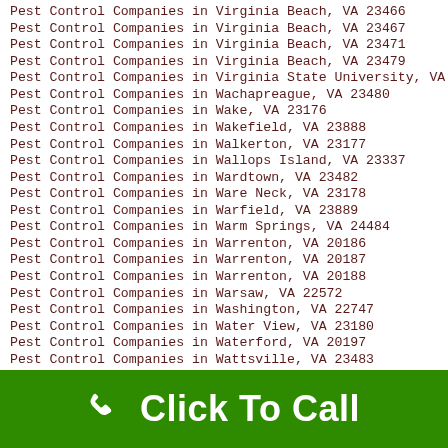Pest Control Companies in Virginia Beach, VA 23466
Pest Control Companies in Virginia Beach, VA 23467
Pest Control Companies in Virginia Beach, VA 23471
Pest Control Companies in Virginia Beach, VA 23479
Pest Control Companies in Virginia State University, VA 23806
Pest Control Companies in Wachapreague, VA 23480
Pest Control Companies in Wake, VA 23176
Pest Control Companies in Wakefield, VA 23888
Pest Control Companies in Walkerton, VA 23177
Pest Control Companies in Wallops Island, VA 23337
Pest Control Companies in Wardtown, VA 23482
Pest Control Companies in Ware Neck, VA 23178
Pest Control Companies in Warfield, VA 23889
Pest Control Companies in Warm Springs, VA 24484
Pest Control Companies in Warrenton, VA 20186
Pest Control Companies in Warrenton, VA 20187
Pest Control Companies in Warrenton, VA 20188
Pest Control Companies in Warsaw, VA 22572
Pest Control Companies in Washington, VA 22747
Pest Control Companies in Water View, VA 23180
Pest Control Companies in Waterford, VA 20197
Pest Control Companies in Wattsville, VA 23483
Pest Control Companies in Waverly, VA 23890
Pest Control Companies in Waverly, VA 23891
Pest Control Companies in Waynesboro, VA 22980
Pest Control Companies in Weber City, VA 24290
Pest Control Companies in Weems, VA 22576
Pest Control Companies in West Augusta, VA 24485
Click To Call